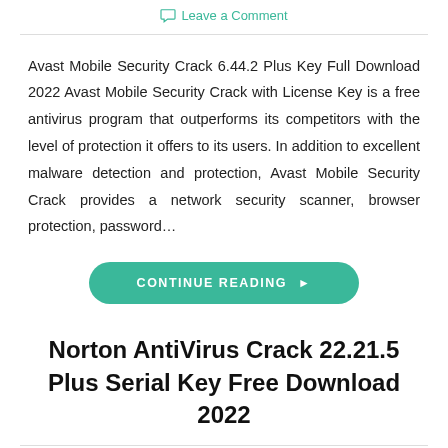Leave a Comment
Avast Mobile Security Crack 6.44.2 Plus Key Full Download 2022 Avast Mobile Security Crack with License Key is a free antivirus program that outperforms its competitors with the level of protection it offers to its users. In addition to excellent malware detection and protection, Avast Mobile Security Crack provides a network security scanner, browser protection, password…
CONTINUE READING ▶
Norton AntiVirus Crack 22.21.5 Plus Serial Key Free Download 2022
December 13, 2021
Leave a Comment